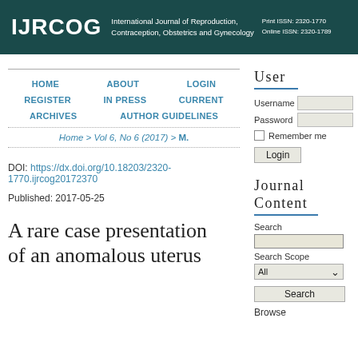IJRCOG | International Journal of Reproduction, Contraception, Obstetrics and Gynecology | Print ISSN: 2320-1770 | Online ISSN: 2320-1789
HOME
ABOUT
LOGIN
REGISTER
IN PRESS
CURRENT
ARCHIVES
AUTHOR GUIDELINES
Home > Vol 6, No 6 (2017) > M.
DOI: https://dx.doi.org/10.18203/2320-1770.ijrcog20172370
Published: 2017-05-25
A rare case presentation of an anomalous uterus
User
Username
Password
Remember me
Login
Journal Content
Search
Search Scope
All
Search
Browse